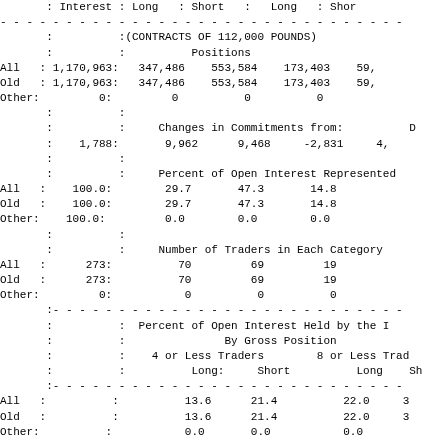|  | Interest | Long | Short | Long | Shor |
| --- | --- | --- | --- | --- | --- |
|  |  | (CONTRACTS OF 112,000 POUNDS) |  |  |  |
|  |  | Positions |  |  |  |
| All | 1,170,963: | 347,486 | 553,584 | 173,403 | 59, |
| Old | 1,170,963: | 347,486 | 553,584 | 173,403 | 59, |
| Other: | 0: | 0 | 0 | 0 |  |
|  |  | Changes in Commitments from: |  |  | D |
|  | 1,788: | 9,962 | 9,468 | -2,831 | 4, |
|  |  | Percent of Open Interest Represented |  |  |  |
| All | 100.0: | 29.7 | 47.3 | 14.8 |  |
| Old | 100.0: | 29.7 | 47.3 | 14.8 |  |
| Other: | 100.0: | 0.0 | 0.0 | 0.0 |  |
|  |  | Number of Traders in Each Category |  |  |  |
| All | 273: | 70 | 69 | 19 |  |
| Old | 273: | 70 | 69 | 19 |  |
| Other: | 0: | 0 | 0 | 0 |  |
|  |  | Percent of Open Interest Held by the |  |  |  |
|  |  | By Gross Position |  |  |  |
|  |  | 4 or Less Traders |  | 8 or Less Trad |  |
|  |  | Long: | Short | Long | Sh |
| All |  | 13.6 | 21.4 | 22.0 | 3 |
| Old |  | 13.6 | 21.4 | 22.0 | 3 |
| Other: |  | 0.0 | 0.0 | 0.0 |  |
COFFEE-C - ICE FUTURES U.S.